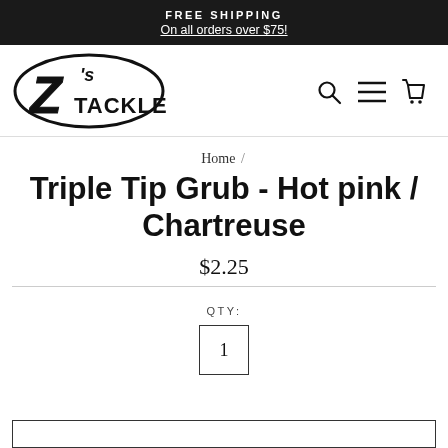FREE SHIPPING
On all orders over $75!
[Figure (logo): Z's Tackle fishing tackle shop logo in bold script style]
Home /
Triple Tip Grub - Hot pink / Chartreuse
$2.25
QTY:
1